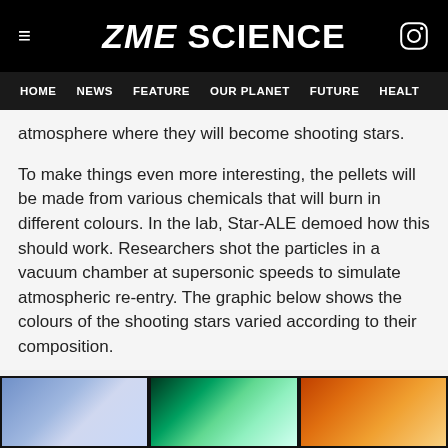ZME SCIENCE
HOME  NEWS  FEATURE  OUR PLANET  FUTURE  HEALT
atmosphere where they will become shooting stars.
To make things even more interesting, the pellets will be made from various chemicals that will burn in different colours. In the lab, Star-ALE demoed how this should work. Researchers shot the particles in a vacuum chamber at supersonic speeds to simulate atmospheric re-entry. The graphic below shows the colours of the shooting stars varied according to their composition.
[Figure (photo): Three side-by-side cropped images showing different coloured light effects: blue/purple tones on the left, green tones in the middle, and orange/amber tones on the right.]